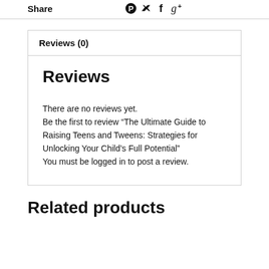Share
Reviews (0)
Reviews
There are no reviews yet.
Be the first to review “The Ultimate Guide to Raising Teens and Tweens: Strategies for Unlocking Your Child’s Full Potential”
You must be logged in to post a review.
Related products